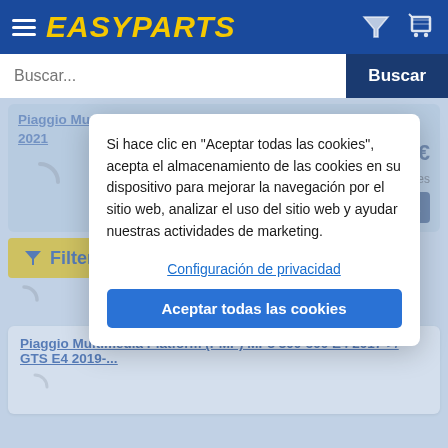[Figure (screenshot): EasyParts e-commerce website header with logo, hamburger menu, filter icon, and shopping cart icon on a dark blue background]
Buscar...
Buscar
Filter
Piaggio Mu… 00-400 HPE 2021
Si hace clic en "Aceptar todas las cookies", acepta el almacenamiento de las cookies en su dispositivo para mejorar la navegación por el sitio web, analizar el uso del sitio web y ayudar nuestras actividades de marketing.
118,40 €
días laborables
ir a la cesta
Configuración de privacidad
Aceptar todas las cookies
Piaggio Multimedia Platform (PMP) MP3 300-500 E4 2017->/ GTS E4 2019-...